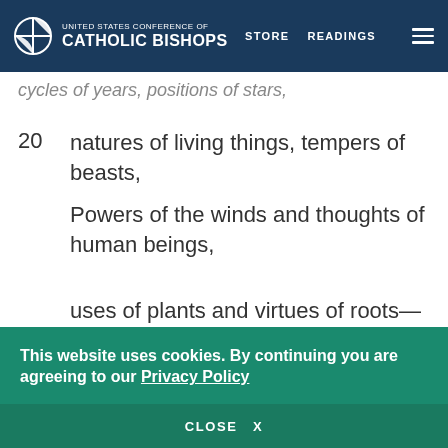UNITED STATES CONFERENCE OF CATHOLIC BISHOPS | STORE  READINGS
cycles of years, positions of stars,
20  natures of living things, tempers of beasts,
Powers of the winds and thoughts of human beings,
uses of plants and virtues of roots—
21  Whatever is hidden or plain I learned,
This website uses cookies. By continuing you are agreeing to our Privacy Policy
CLOSE  X